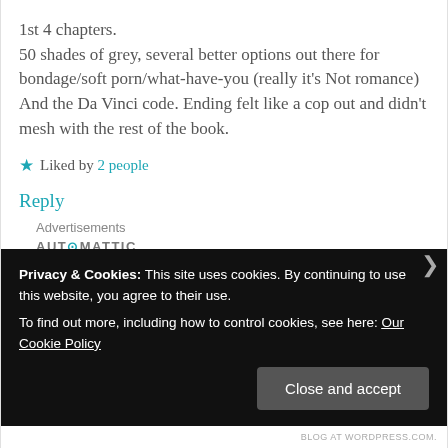1st 4 chapters.
50 shades of grey, several better options out there for bondage/soft porn/what-have-you (really it's Not romance)
And the Da Vinci code. Ending felt like a cop out and didn't mesh with the rest of the book.
★ Liked by 2 people
Reply
Advertisements
AUT⊙MATTIC
Privacy & Cookies: This site uses cookies. By continuing to use this website, you agree to their use.
To find out more, including how to control cookies, see here: Our Cookie Policy
Close and accept